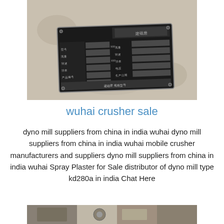[Figure (photo): Close-up photograph of a Chinese-language metal nameplate/specification plate on a piece of industrial machinery (mill or crusher). The plate is black with silver/grey engraved text and data fields, mounted on a cream/beige weathered surface.]
wuhai crusher sale
dyno mill suppliers from china in india wuhai dyno mill suppliers from china in india wuhai mobile crusher manufacturers and suppliers dyno mill suppliers from china in india wuhai Spray Plaster for Sale distributor of dyno mill type kd280a in india Chat Here
[Figure (photo): Partial photograph of industrial machinery interior, partially visible at bottom of page.]